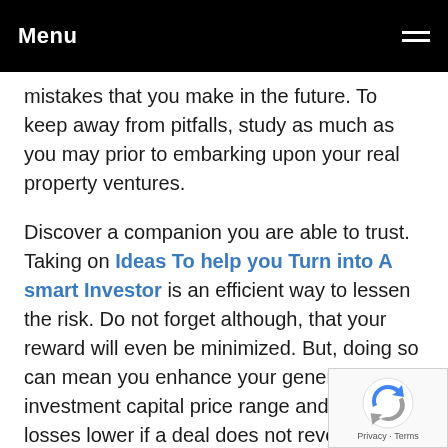Menu
mistakes that you make in the future. To keep away from pitfalls, study as much as you may prior to embarking upon your real property ventures.
Discover a companion you are able to trust. Taking on Ideas To help you Turn into A smart Investor is an efficient way to lessen the risk. Do not forget although, that your reward will even be minimized. But, doing so can mean you enhance your general investment capital price range and keep your losses lower if a deal does not revenue you such as you anticipate.
[Figure (logo): reCAPTCHA badge with logo and Privacy/Terms links]